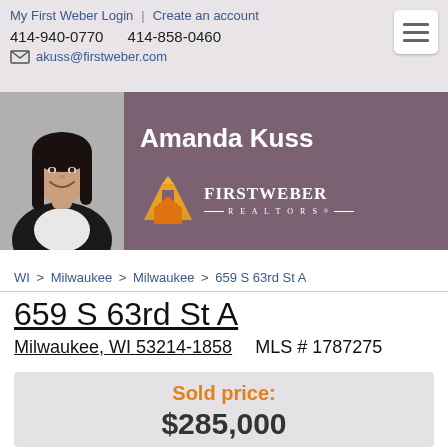My First Weber Login | Create an account | 414-940-0770 414-858-0460 | akuss@firstweber.com
[Figure (photo): Agent banner with photo of Amanda Kuss and First Weber Realtors logo on purple/mauve background]
WI > Milwaukee > Milwaukee > 659 S 63rd St A
659 S 63rd St A
Milwaukee, WI 53214-1858  MLS # 1787275
Sold price: $285,000